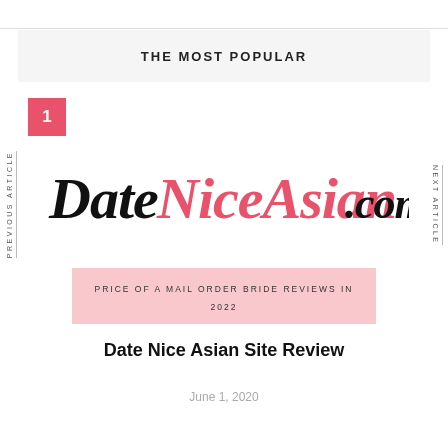THE MOST POPULAR
PREVIOUS ARTICLE
NEXT ARTICLE
1
[Figure (logo): DateNiceAsian.com logo in script font, with 'Date' in black cursive, 'NiceAsian' in pink cursive, and '.com' in black script]
PRICE OF A MAIL ORDER BRIDE REVIEWS IN 2022
Date Nice Asian Site Review
June 1, 2020